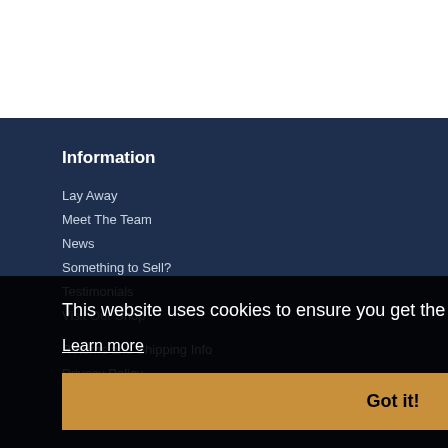Information
Lay Away
Meet The Team
News
Something to Sell?
Testimonials
Visit Our Shop
Returns and Shipping Info
Privacy Policy
Terms & Conditions
This website uses cookies to ensure you get the best experience on our website.
Learn more
Got it!
Customer Service